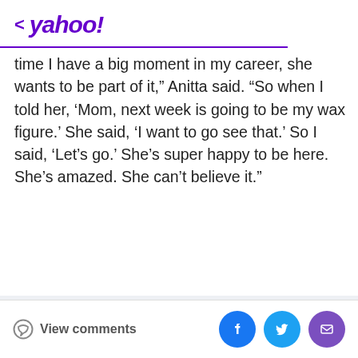< yahoo!
time I have a big moment in my career, she wants to be part of it," Anitta said. "So when I told her, ‘Mom, next week is going to be my wax figure.’ She said, ‘I want to go see that.’ So I said, ‘Let’s go.’ She’s super happy to be here. She’s amazed. She can’t believe it."
[Figure (other): Advertisement placeholder area with light gray background]
View comments